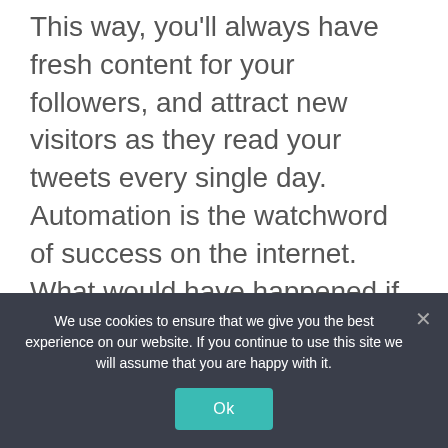This way, you'll always have fresh content for your followers, and attract new visitors as they read your tweets every single day. Automation is the watchword of success on the internet. What would have happened if there was nothing like auto responders? So dull, isn't it?

So, to get started in
We use cookies to ensure that we give you the best experience on our website. If you continue to use this site we will assume that you are happy with it.